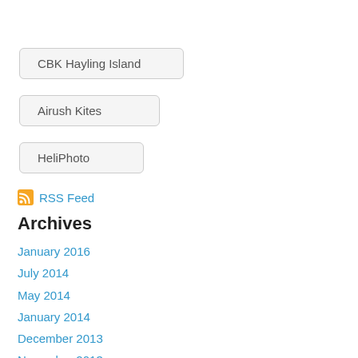CBK Hayling Island
Airush Kites
HeliPhoto
RSS Feed
Archives
January 2016
July 2014
May 2014
January 2014
December 2013
November 2013
August 2013
July 2013